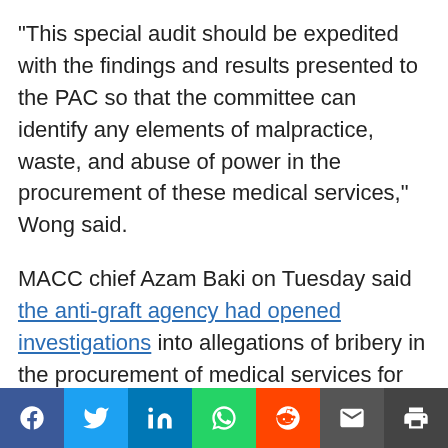“This special audit should be expedited with the findings and results presented to the PAC so that the committee can identify any elements of malpractice, waste, and abuse of power in the procurement of these medical services,” Wong said.
MACC chief Azam Baki on Tuesday said the anti-graft agency had opened investigations into allegations of bribery in the procurement of medical services for Covid-19, fraud related to the supply of personal protective equipment (PPE), and abuse of power in distributing aid and stimulus packages during
Social share bar: Facebook, Twitter, LinkedIn, WhatsApp, Reddit, Email, Print